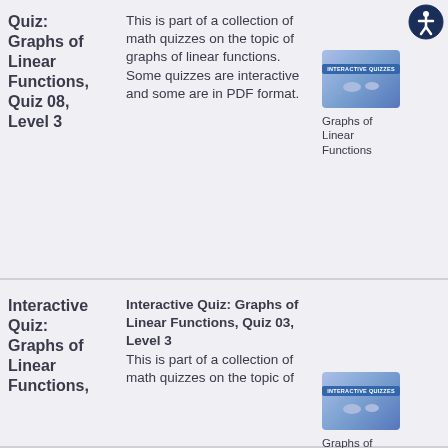Quiz: Graphs of Linear Functions, Quiz 08, Level 3
This is part of a collection of math quizzes on the topic of graphs of linear functions. Some quizzes are interactive and some are in PDF format.
[Figure (illustration): Thumbnail image for Graphs of Linear Functions quiz with interactive quizzes label]
Graphs of Linear Functions
Interactive Quiz: Graphs of Linear Functions,
Interactive Quiz: Graphs of Linear Functions, Quiz 03, Level 3
This is part of a collection of math quizzes on the topic of
[Figure (illustration): Thumbnail image for Graphs of Linear Functions quiz]
Graphs of Linear Functions